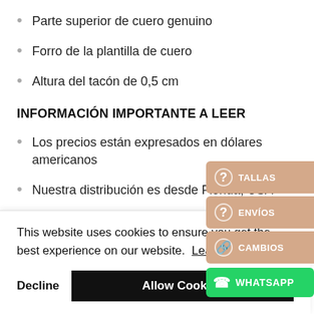Parte superior de cuero genuino
Forro de la plantilla de cuero
Altura del tacón de 0,5 cm
INFORMACIÓN IMPORTANTE A LEER
Los precios están expresados en dólares americanos
Nuestra distribución es desde Florida, USA
This website uses cookies to ensure you get the best experience on our website. Learn more
Decline | Allow Cookies
[Figure (other): Side floating buttons: TALLAS, ENVÍOS, CAMBIOS (brown background), WHATSAPP (green background)]